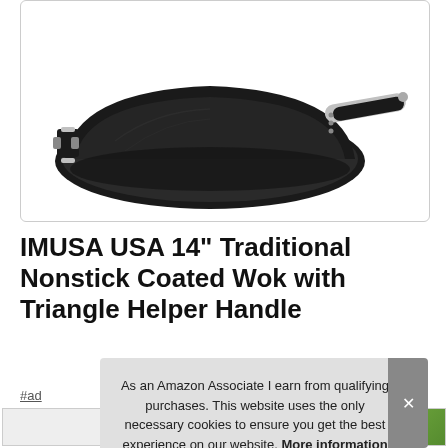[Figure (photo): Black nonstick wok with long black handle and small triangle helper handle on the left side, viewed from a slight angle. The wok is deep and round with a matte black finish. Background is white.]
IMUSA USA 14" Traditional Nonstick Coated Wok with Triangle Helper Handle
#ad
As an Amazon Associate I earn from qualifying purchases. This website uses the only necessary cookies to ensure you get the best experience on our website. More information
[Figure (photo): Row of small product thumbnail images at the bottom of the page]